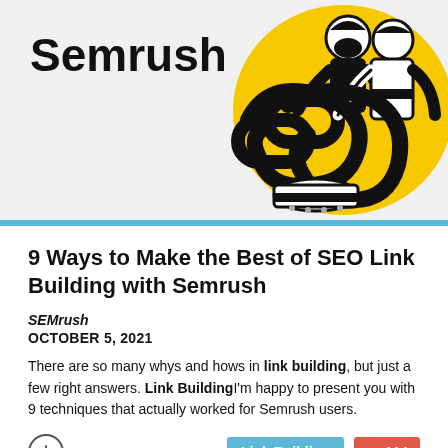[Figure (illustration): Hero banner with Semrush logo text on the left and a yellow/black illustration of two figures working with a chain link on the right, on a light gray background.]
9 Ways to Make the Best of SEO Link Building with Semrush
SEMrush
OCTOBER 5, 2021
There are so many whys and hows in link building, but just a few right answers. Link BuildingI'm happy to present you with 9 techniques that actually worked for Semrush users.
Link Building  ↗ 114